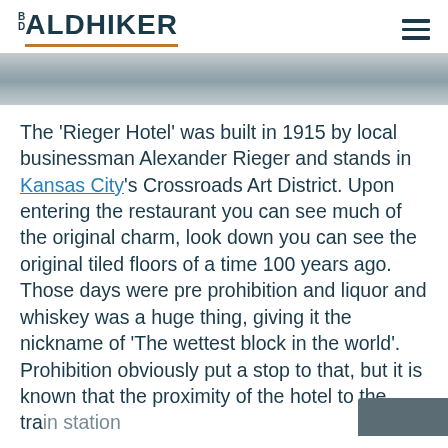BALDHIKER
[Figure (photo): Partial hero/banner image of a building or outdoor scene, grey tones, cropped at the top of the article]
The 'Rieger Hotel' was built in 1915 by local businessman Alexander Rieger and stands in Kansas City's Crossroads Art District. Upon entering the restaurant you can see much of the original charm, look down you can see the original tiled floors of a time 100 years ago. Those days were pre prohibition and liquor and whiskey was a huge thing, giving it the nickname of 'The wettest block in the world'. Prohibition obviously put a stop to that, but it is known that the proximity of the hotel to the train station